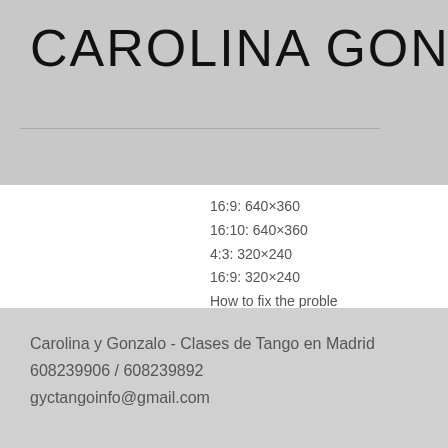CAROLINA GONZÁLEZ
Clases de TANGO
16:9: 640×360
16:10: 640×360
4:3: 320×240
16:9: 320×240
How to fix the proble
1.
Carolina y Gonzalo - Clases de Tango en Madrid
608239906 / 608239892
gyctangoinfo@gmail.com